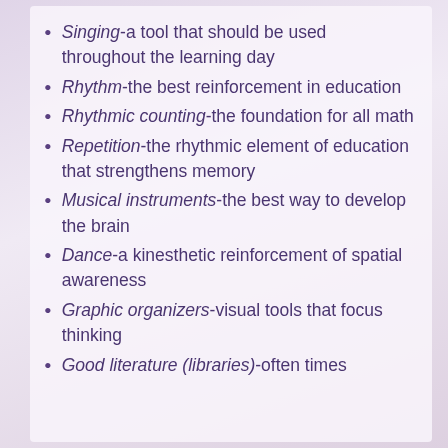Singing-a tool that should be used throughout the learning day
Rhythm-the best reinforcement in education
Rhythmic counting-the foundation for all math
Repetition-the rhythmic element of education that strengthens memory
Musical instruments-the best way to develop the brain
Dance-a kinesthetic reinforcement of spatial awareness
Graphic organizers-visual tools that focus thinking
Good literature (libraries)-often times